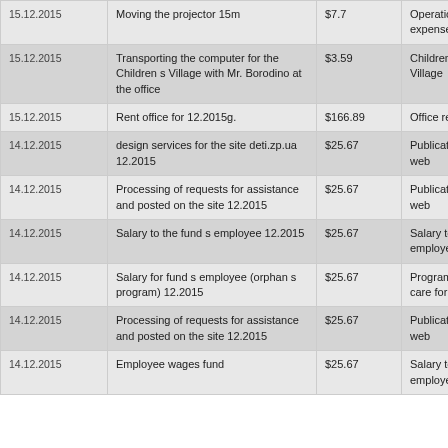| Date | Description | Amount | Category |
| --- | --- | --- | --- |
| 15.12.2015 | Moving the projector 15m | $7.7 | Operational expenses of |
| 15.12.2015 | Transporting the computer for the Children s Village with Mr. Borodino at the office | $3.59 | Children s Eco Village |
| 15.12.2015 | Rent office for 12.2015g. | $166.89 | Office rent |
| 14.12.2015 | design services for the site deti.zp.ua 12.2015 | $25.67 | Publications on the web |
| 14.12.2015 | Processing of requests for assistance and posted on the site 12.2015 | $25.67 | Publications on the web |
| 14.12.2015 | Salary to the fund s employee 12.2015 | $25.67 | Salary to fund s employe |
| 14.12.2015 | Salary for fund s employee (orphan s program) 12.2015 | $25.67 | Program Family care for |
| 14.12.2015 | Processing of requests for assistance and posted on the site 12.2015 | $25.67 | Publications on the web |
| 14.12.2015 | Employee wages fund | $25.67 | Salary to fund s employe |